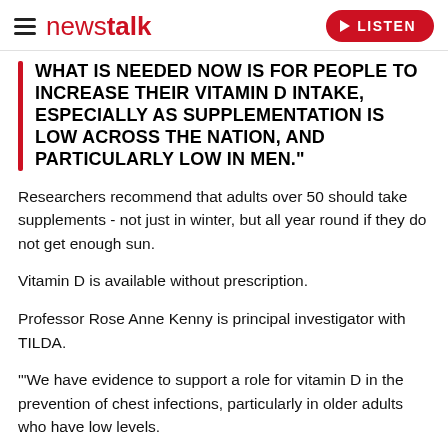newstalk — LISTEN
WHAT IS NEEDED NOW IS FOR PEOPLE TO INCREASE THEIR VITAMIN D INTAKE, ESPECIALLY AS SUPPLEMENTATION IS LOW ACROSS THE NATION, AND PARTICULARLY LOW IN MEN."
Researchers recommend that adults over 50 should take supplements - not just in winter, but all year round if they do not get enough sun.
Vitamin D is available without prescription.
Professor Rose Anne Kenny is principal investigator with TILDA.
'"We have evidence to support a role for vitamin D in the prevention of chest infections, particularly in older adults who have low levels.
"In one study vitamin D reduced the risk of chest infections